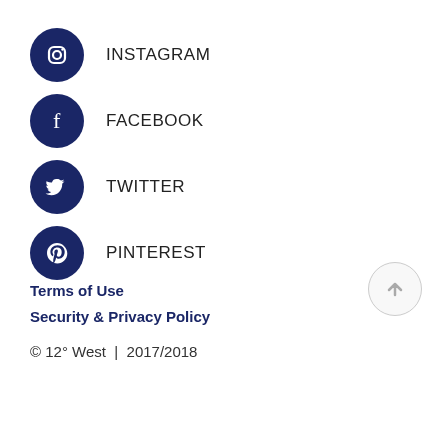INSTAGRAM
FACEBOOK
TWITTER
PINTEREST
Terms of Use
Security & Privacy Policy
© 12° West | 2017/2018
[Figure (illustration): Back to top arrow button circle]